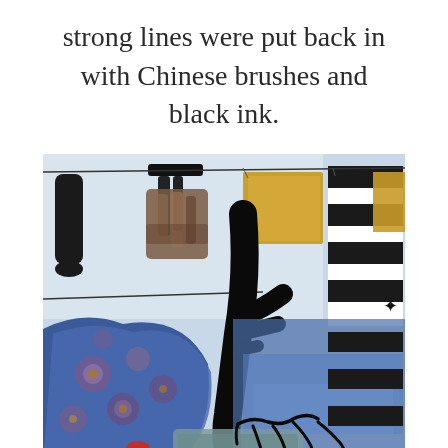strong lines were put back in with Chinese brushes and black ink.
[Figure (illustration): Abstract mixed-media artwork featuring bold black brushstrokes made with Chinese brushes and black ink, overlaid on a composition with blue paint, patterned fabric textures with floral motifs, black-and-white striped elements, golden/yellow rectangular patches, and what appears to be a signature or calligraphic marks at the bottom center.]